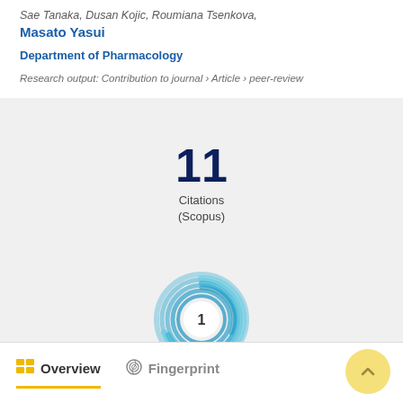Sae Tanaka, Dusan Kojic, Roumiana Tsenkova, Masato Yasui
Department of Pharmacology
Research output: Contribution to journal › Article › peer-review
[Figure (infographic): Citation count: 11 Citations (Scopus)]
[Figure (donut-chart): Altmetric donut badge showing value 1, rendered as concentric blue swirl circles with white center displaying '1']
Overview
Fingerprint